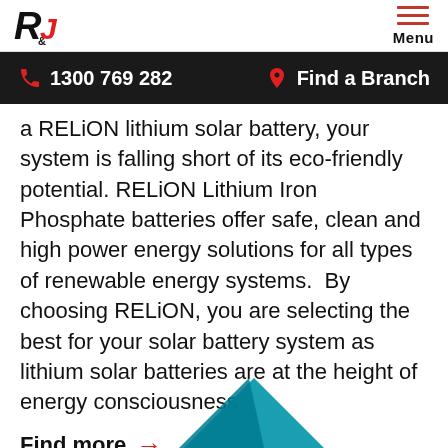R&J logo | Menu
1300 769 282 | Find a Branch
a RELiON lithium solar battery, your system is falling short of its eco-friendly potential. RELiON Lithium Iron Phosphate batteries offer safe, clean and high power energy solutions for all types of renewable energy systems.  By choosing RELiON, you are selecting the best for your solar battery system as lithium solar batteries are at the height of energy consciousness.
Find more →
[Figure (illustration): Partial view of a teal/blue geometric logo or graphic element at the bottom of the page]